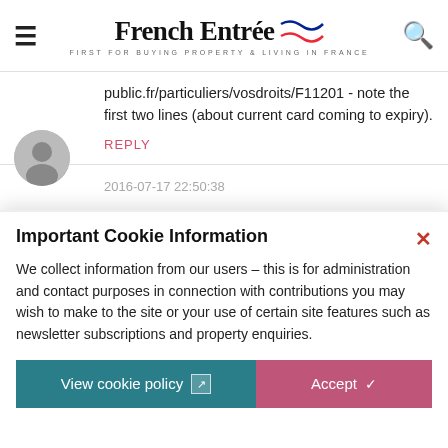French Entrée — FIRST FOR BUYING PROPERTY & LIVING IN FRANCE
public.fr/particuliers/vosdroits/F11201 - note the first two lines (about current card coming to expiry).
REPLY
2016-07-17 22:50:38
Important Cookie Information
We collect information from our users – this is for administration and contact purposes in connection with contributions you may wish to make to the site or your use of certain site features such as newsletter subscriptions and property enquiries.
View cookie policy
Accept